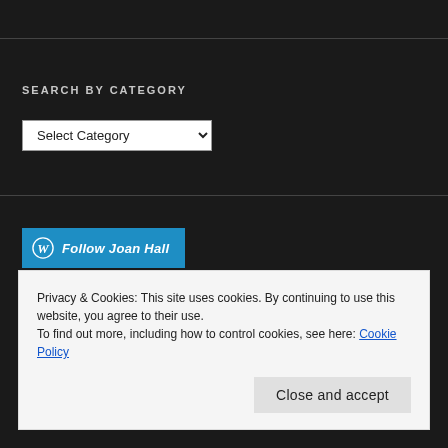SEARCH BY CATEGORY
Select Category
[Figure (screenshot): Follow Joan Hall WordPress follow button in cyan/blue]
Privacy & Cookies: This site uses cookies. By continuing to use this website, you agree to their use.
To find out more, including how to control cookies, see here: Cookie Policy
Close and accept